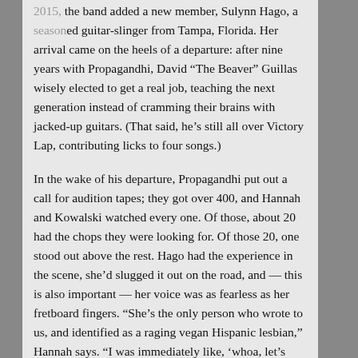2015, the band added a new member, Sulynn Hago, a seasoned guitar-slinger from Tampa, Florida. Her arrival came on the heels of a departure: after nine years with Propagandhi, David “The Beaver” Guillas wisely elected to get a real job, teaching the next generation instead of cramming their brains with jacked-up guitars. (That said, he’s still all over Victory Lap, contributing licks to four songs.)
In the wake of his departure, Propagandhi put out a call for audition tapes; they got over 400, and Hannah and Kowalski watched every one. Of those, about 20 had the chops they were looking for. Of those 20, one stood out above the rest. Hago had the experience in the scene, she’d slugged it out on the road, and — this is also important — her voice was as fearless as her fretboard fingers. “She’s the only person who wrote to us, and identified as a raging vegan Hispanic lesbian,” Hannah says. “I was immediately like, ‘whoa, let’s check this out.’”